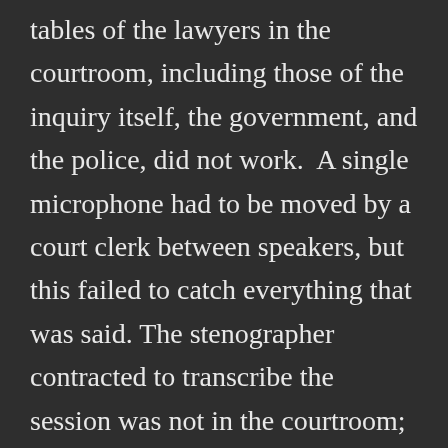tables of the lawyers in the courtroom, including those of the inquiry itself, the government, and the police, did not work.  A single microphone had to be moved by a court clerk between speakers, but this failed to catch everything that was said. The stenographer contracted to transcribe the session was not in the courtroom; dependent on the audio and video feed, she was unable to transcribe what was said.